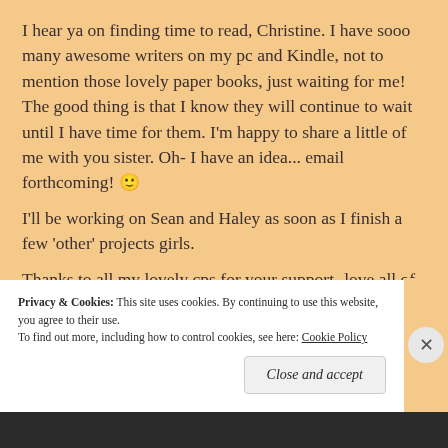I hear ya on finding time to read, Christine. I have sooo many awesome writers on my pc and Kindle, not to mention those lovely paper books, just waiting for me! The good thing is that I know they will continue to wait until I have time for them. I'm happy to share a little of me with you sister. Oh- I have an idea... email forthcoming! 🙂
I'll be working on Sean and Haley as soon as I finish a few 'other' projects girls.

Thanks to all my lovely cps for your support- love all of ya'll!
Privacy & Cookies: This site uses cookies. By continuing to use this website, you agree to their use.
To find out more, including how to control cookies, see here: Cookie Policy
Close and accept